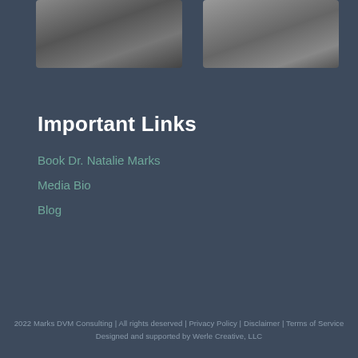[Figure (photo): Black and white photo of a person at a radio/recording desk, seen from behind]
[Figure (photo): Black and white photo of a camera on a tripod outdoors]
Important Links
Book Dr. Natalie Marks
Media Bio
Blog
2022 Marks DVM Consulting | All rights deserved | Privacy Policy | Disclaimer | Terms of Service
Designed and supported by Werle Creative, LLC